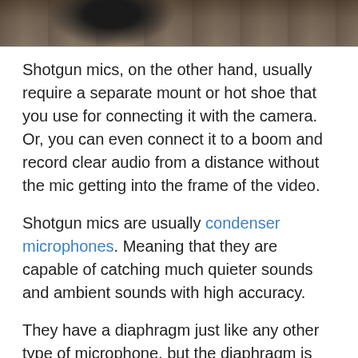[Figure (photo): Partial photo of a person or object, dark/brown tones, cropped at top of page]
Shotgun mics, on the other hand, usually require a separate mount or hot shoe that you use for connecting it with the camera. Or, you can even connect it to a boom and record clear audio from a distance without the mic getting into the frame of the video.
Shotgun mics are usually condenser microphones. Meaning that they are capable of catching much quieter sounds and ambient sounds with high accuracy.
They have a diaphragm just like any other type of microphone, but the diaphragm is usually made of very thin metal and they also have an additional plate of metal called